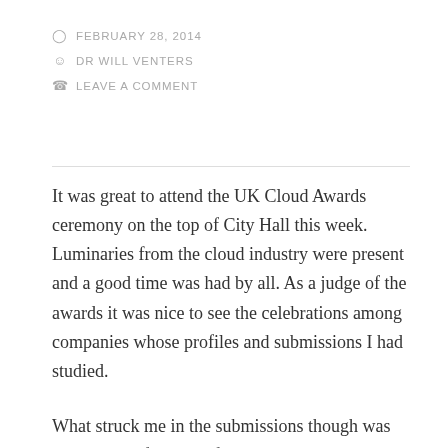FEBRUARY 28, 2014
DR WILL VENTERS
LEAVE A COMMENT
It was great to attend the UK Cloud Awards ceremony on the top of City Hall this week. Luminaries from the cloud industry were present and a good time was had by all. As a judge of the awards it was nice to see the celebrations among companies whose profiles and submissions I had studied.
What struck me in the submissions though was the growth of Microsoft in providing cloud services as backbones to many of the projects. While Amazon and Google gain the high profile as “cloud companies” (rightly given their scale), it seemed